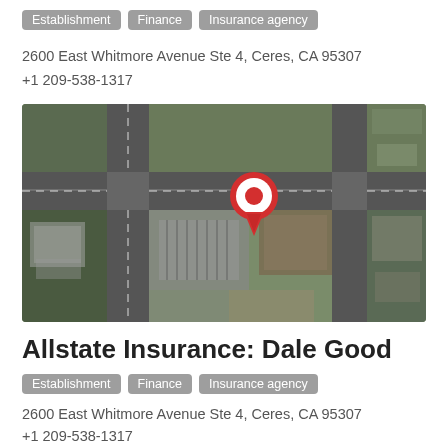Establishment  Finance  Insurance agency
2600 East Whitmore Avenue Ste 4, Ceres, CA 95307
+1 209-538-1317
[Figure (map): Satellite aerial map view with a red location pin marker indicating 2600 East Whitmore Avenue Ste 4, Ceres, CA. Shows street intersection with buildings and parking areas visible from above.]
Allstate Insurance: Dale Good
Establishment  Finance  Insurance agency
2600 East Whitmore Avenue Ste 4, Ceres, CA 95307
+1 209-538-1317